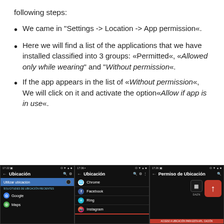following steps:
We came in "Settings -> Location -> App permission«.
Here we will find a list of the applications that we have installed classified into 3 groups: «Permitted«, «Allowed only while wearing" and "Without permission«.
If the app appears in the list of «Without permission«, We will click on it and activate the option«Allow if app is in use«.
[Figure (screenshot): Three Android phone screenshots showing Location settings screens: first shows 'Ubicación' with 'Utilizar ubicación' toggle; second shows 'Ubicación' with app list (Chrome, Facebook, Ring, Instagram); third shows 'Permiso de Ubicación' with DAZN app and a red toggle button with upward arrow.]